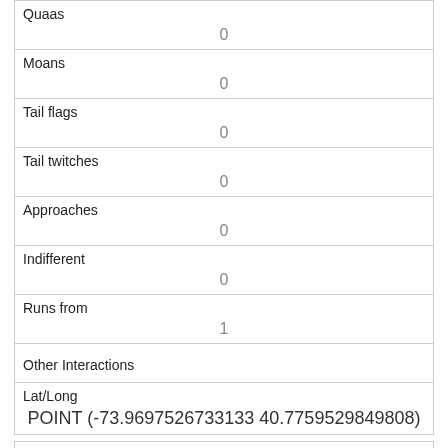| Quaas | 0 |
| Moans | 0 |
| Tail flags | 0 |
| Tail twitches | 0 |
| Approaches | 0 |
| Indifferent | 0 |
| Runs from | 1 |
| Other Interactions |  |
| Lat/Long | POINT (-73.9697526733133 40.7759529849808) |
| Link | 1175 |